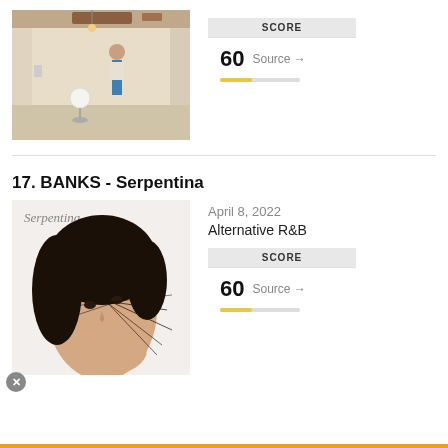[Figure (photo): Album cover photo: person standing in a minimalist room with ceiling, lamp on floor]
| SCORE |  |
| --- | --- |
| 60 | Source → |
17. BANKS - Serpentina
April 8, 2022
Alternative R&B
[Figure (photo): Album cover for Serpentina by BANKS: close-up of woman's face with dark hair and threads crossing face]
| SCORE |  |
| --- | --- |
| 60 | Source → |